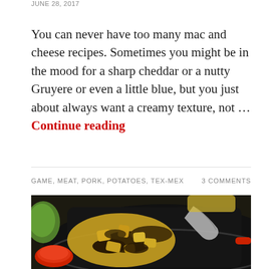JUNE 28, 2017
You can never have too many mac and cheese recipes. Sometimes you might be in the mood for a sharp cheddar or a nutty Gruyere or even a little blue, but you just about always want a creamy texture, not … Continue reading
GAME, MEAT, PORK, POTATOES, TEX-MEX
3 COMMENTS
[Figure (photo): A cast iron skillet filled with a cooked meat and potato hash dish, with salsa and lettuce visible in the background on a table.]